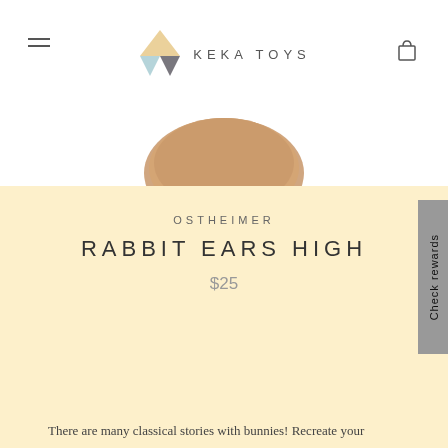KEKA TOYS
[Figure (photo): Partial product image of a wooden rabbit toy on white background]
OSTHEIMER
RABBIT EARS HIGH
$25
− 1 +
ADD TO CART
There are many classical stories with bunnies! Recreate your